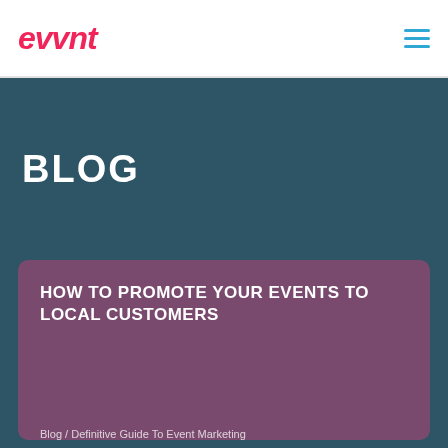evvnt
BLOG
HOW TO PROMOTE YOUR EVENTS TO LOCAL CUSTOMERS
Blog / Definitive Guide To Event Marketing